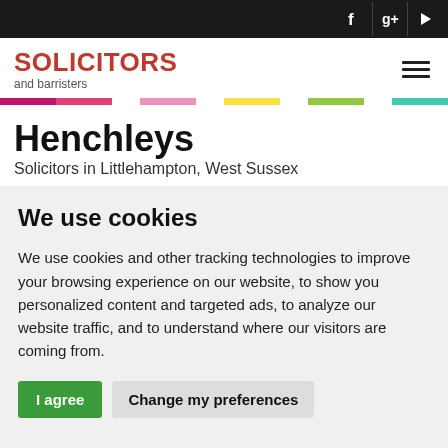SOLICITORS and barristers — Henchleys — Solicitors in Littlehampton, West Sussex
Henchleys
Solicitors in Littlehampton, West Sussex
We use cookies
We use cookies and other tracking technologies to improve your browsing experience on our website, to show you personalized content and targeted ads, to analyze our website traffic, and to understand where our visitors are coming from.